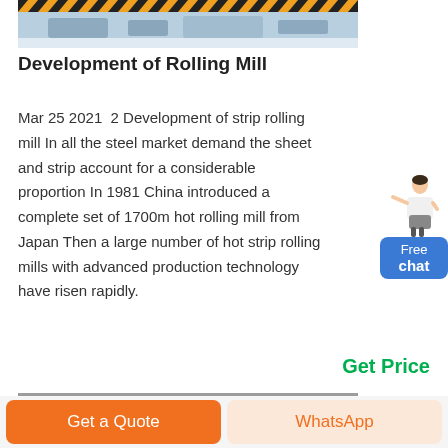[Figure (photo): Top portion of a rolling mill machine with yellow and black hazard stripes and industrial equipment in a snowy/white environment]
Development of Rolling Mill
Mar 25 2021  2 Development of strip rolling mill In all the steel market demand the sheet and strip account for a considerable proportion In 1981 China introduced a complete set of 1700m hot rolling mill from Japan Then a large number of hot strip rolling mills with advanced production technology have risen rapidly.
[Figure (illustration): Customer service representative figure with Free chat button widget]
Get Price
[Figure (photo): Partial bottom image of industrial rolling mill machinery]
Get a Quote   WhatsApp